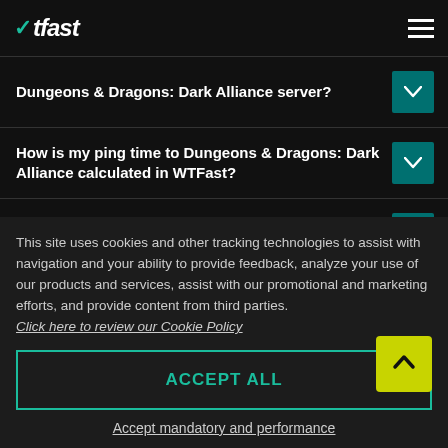WTFast
Dungeons & Dragons: Dark Alliance server?
How is my ping time to Dungeons & Dragons: Dark Alliance calculated in WTFast?
What is ping time, and how does it apply to Dungeons & Dragons: Dark Alliance?
This site uses cookies and other tracking technologies to assist with navigation and your ability to provide feedback, analyze your use of our products and services, assist with our promotional and marketing efforts, and provide content from third parties.
Click here to review our Cookie Policy
ACCEPT ALL
Accept mandatory and performance